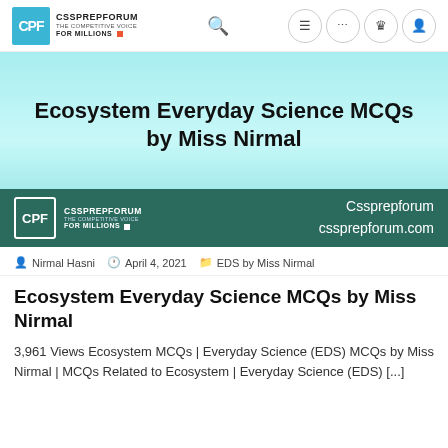CPF CSSPREPFORUM THE COMPETITIVE VOICE FOR MILLIONS
[Figure (screenshot): Hero banner with title 'Ecosystem Everyday Science MCQs by Miss Nirmal' on cyan/turquoise gradient background, with CPF logo and cssprepforum.com at bottom on dark teal bar]
Nirmal Hasni  April 4, 2021  EDS by Miss Nirmal
Ecosystem Everyday Science MCQs by Miss Nirmal
3,961 Views Ecosystem MCQs | Everyday Science (EDS) MCQs by Miss Nirmal | MCQs Related to Ecosystem | Everyday Science (EDS) [...]